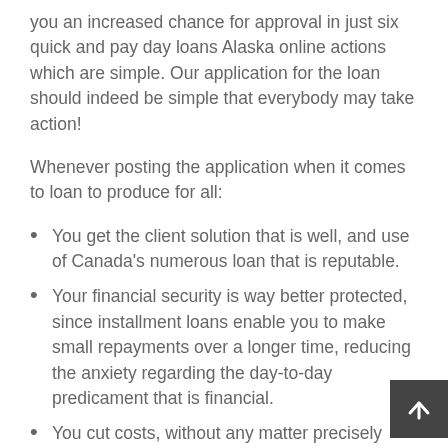you an increased chance for approval in just six quick and pay day loans Alaska online actions which are simple. Our application for the loan should indeed be simple that everybody may take action!
Whenever posting the application when it comes to loan to produce for all:
You get the client solution that is well, and use of Canada's numerous loan that is reputable.
Your financial security is way better protected, since installment loans enable you to make small repayments over a longer time, reducing the anxiety regarding the day-to-day predicament that is financial.
You cut costs, without any matter precisely what your apr (APR) will always be fixed.
Installment loans in Canada will assist you to build (or